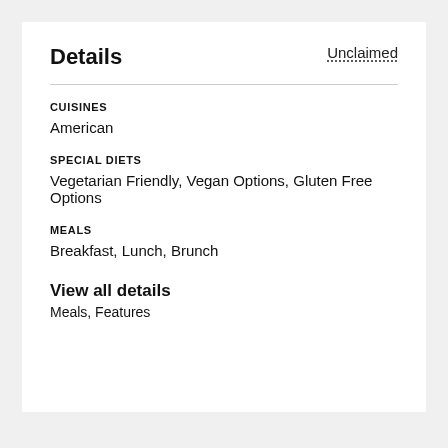Details
Unclaimed
CUISINES
American
SPECIAL DIETS
Vegetarian Friendly, Vegan Options, Gluten Free Options
MEALS
Breakfast, Lunch, Brunch
View all details
Meals, Features